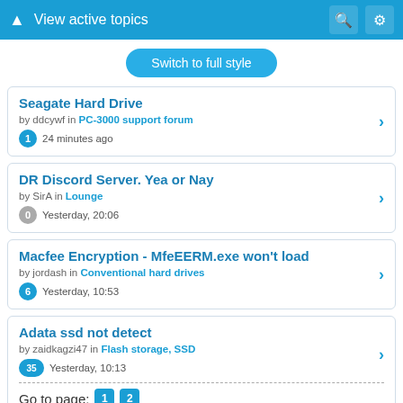View active topics
Switch to full style
Seagate Hard Drive — by ddcywf in PC-3000 support forum — 1 — 24 minutes ago
DR Discord Server. Yea or Nay — by SirA in Lounge — 0 — Yesterday, 20:06
Macfee Encryption - MfeEERM.exe won't load — by jordash in Conventional hard drives — 6 — Yesterday, 10:53
Adata ssd not detect — by zaidkagzi47 in Flash storage, SSD — 35 — Yesterday, 10:13 — Go to page: 1 2
SSD hard drives — by OfficiallyMaize in Lounge — 1 — Yesterday, 8:43